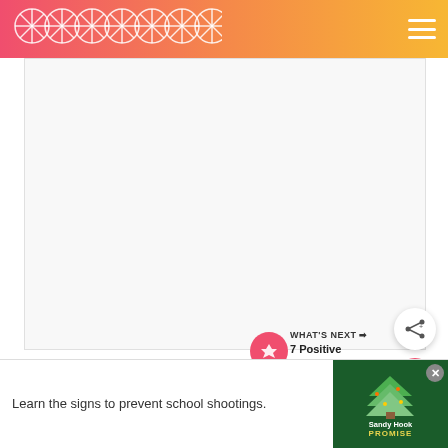GOODGOODGOOD
[Figure (screenshot): Main article image placeholder area with loading dots in a white box]
And many of the trees will be located in neighborhoods populated by people of color, neighborhoods that the legacy of racially discriminatory housing policy historically
[Figure (infographic): WHAT'S NEXT arrow label with '7 Positive Good News....' text and record button]
[Figure (infographic): Advertisement banner: 'Learn the signs to prevent school shootings.' Sandy Hook Promise logo with tree graphic]